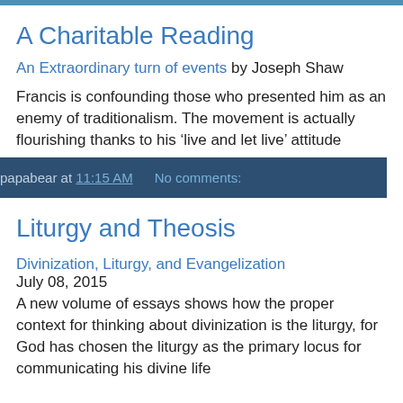A Charitable Reading
An Extraordinary turn of events by Joseph Shaw
Francis is confounding those who presented him as an enemy of traditionalism. The movement is actually flourishing thanks to his ‘live and let live’ attitude
papabear at 11:15 AM   No comments:
Liturgy and Theosis
Divinization, Liturgy, and Evangelization
July 08, 2015
A new volume of essays shows how the proper context for thinking about divinization is the liturgy, for God has chosen the liturgy as the primary locus for communicating his divine life